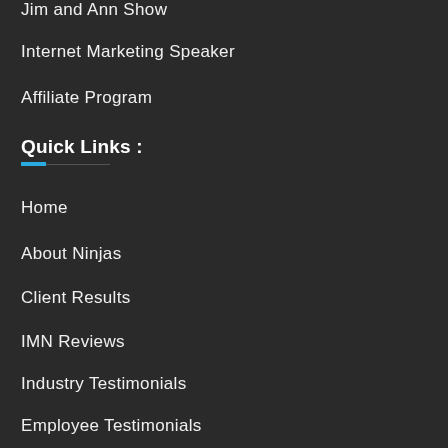Jim and Ann Show
Internet Marketing Speaker
Affiliate Program
Quick Links :
Home
About Ninjas
Client Results
IMN Reviews
Industry Testimonials
Employee Testimonials
Marketing Resources